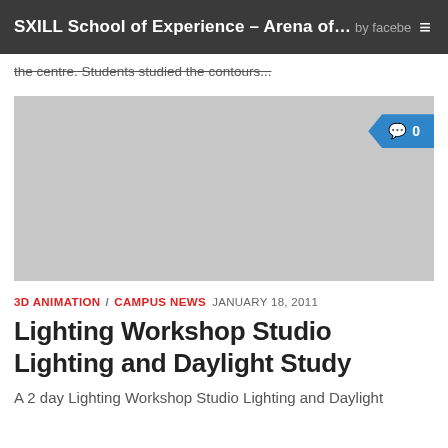SXILL School of Experience – Arena of th...
the centre. Students studied the contours...
[Figure (photo): Gray placeholder image for a lighting workshop article, with a blue comment badge showing '0' comments]
3D ANIMATION / CAMPUS NEWS  JANUARY 18, 2011
Lighting Workshop Studio Lighting and Daylight Study
A 2 day Lighting Workshop Studio Lighting and Daylight